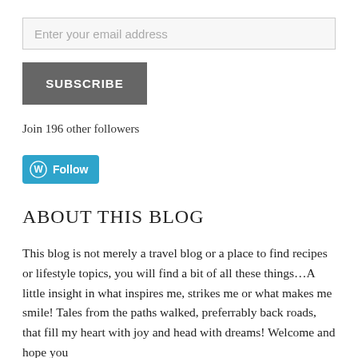Enter your email address
SUBSCRIBE
Join 196 other followers
[Figure (other): WordPress Follow button with logo icon]
ABOUT THIS BLOG
This blog is not merely a travel blog or a place to find recipes or lifestyle topics, you will find a bit of all these things…A little insight in what inspires me, strikes me or what makes me smile! Tales from the paths walked, preferrably back roads, that fill my heart with joy and head with dreams! Welcome and hope you